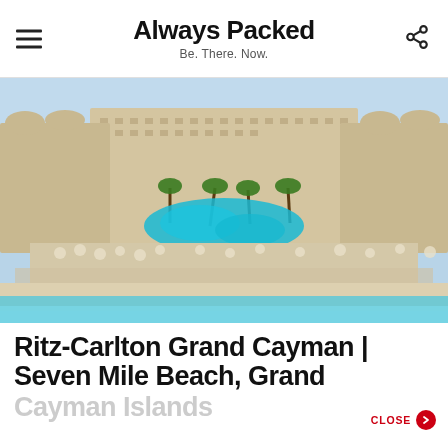Always Packed
Be. There. Now.
[Figure (photo): Aerial view of the Ritz-Carlton Grand Cayman resort on Seven Mile Beach, showing the large hotel complex, blue swimming pools, beach chairs, and turquoise Caribbean ocean.]
Ritz-Carlton Grand Cayman | Seven Mile Beach, Grand Cayman Islands